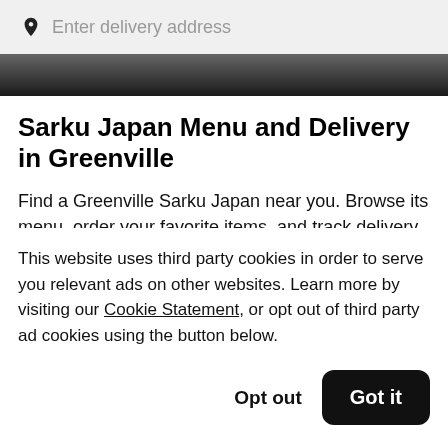Enter delivery address
[Figure (screenshot): Dark hero/banner image strip at top of restaurant page]
Sarku Japan Menu and Delivery in Greenville
Find a Greenville Sarku Japan near you. Browse its menu, order your favorite items, and track delivery to
This website uses third party cookies in order to serve you relevant ads on other websites. Learn more by visiting our Cookie Statement, or opt out of third party ad cookies using the button below.
Opt out
Got it